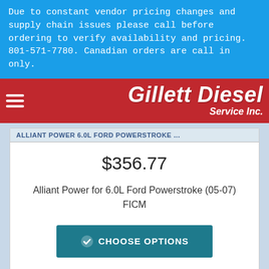Due to constant vendor pricing changes and supply chain issues please call before ordering to verify availability and pricing. 801-571-7780. Canadian orders are call in only.
[Figure (logo): Gillett Diesel Service Inc. logo in white italic bold text on red background with hamburger menu icon on the left]
ALLIANT POWER 6.0L FORD POWERSTROKE ...
$356.77
Alliant Power for 6.0L Ford Powerstroke (05-07) FICM
CHOOSE OPTIONS
Message